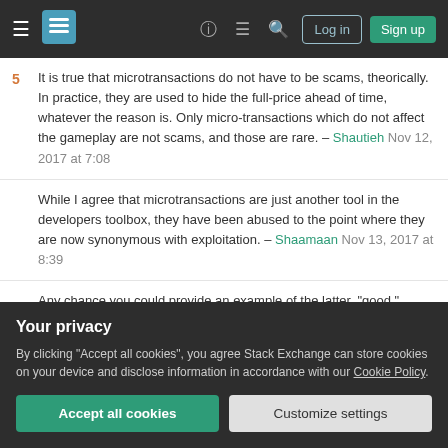Stack Exchange navigation bar with Log in and Sign up buttons
5 It is true that microtransactions do not have to be scams, theorically. In practice, they are used to hide the full-price ahead of time, whatever the reason is. Only micro-transactions which do not affect the gameplay are not scams, and those are rare. – Shautieh Nov 12, 2017 at 7:08
While I agree that microtransactions are just another tool in the developers toolbox, they have been abused to the point where they are now synonymous with exploitation. – Shaamaan Nov 13, 2017 at 8:39
Any chance you could provide an example of the latter, "good," implementation of microtransactions? (Or for
Your privacy
By clicking "Accept all cookies", you agree Stack Exchange can store cookies on your device and disclose information in accordance with our Cookie Policy.
Accept all cookies  Customize settings